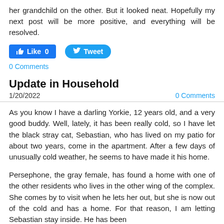her grandchild on the other. But it looked neat. Hopefully my next post will be more positive, and everything will be resolved.
[Figure (other): Social media buttons: Like 0 (Facebook) and Tweet (Twitter)]
0 Comments
Update in Household
1/20/2022
0 Comments
As you know I have a darling Yorkie, 12 years old, and a very good buddy. Well, lately, it has been really cold, so I have let the black stray cat, Sebastian, who has lived on my patio for about two years, come in the apartment. After a few days of unusually cold weather, he seems to have made it his home.
Persephone, the gray female, has found a home with one of the other residents who lives in the other wing of the complex. She comes by to visit when he lets her out, but she is now out of the cold and has a home. For that reason, I am letting Sebastian stay inside. He has been